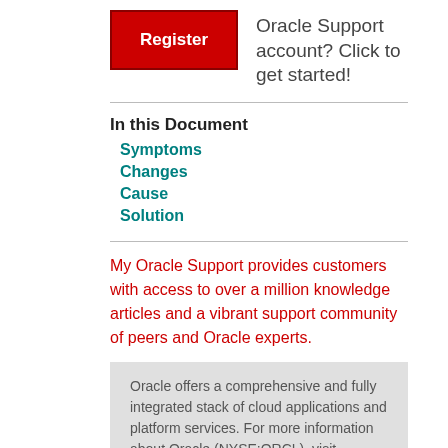[Figure (other): Red Register button with white bold text]
Oracle Support account? Click to get started!
In this Document
Symptoms
Changes
Cause
Solution
My Oracle Support provides customers with access to over a million knowledge articles and a vibrant support community of peers and Oracle experts.
Oracle offers a comprehensive and fully integrated stack of cloud applications and platform services. For more information about Oracle (NYSE:ORCL), visit oracle.com.